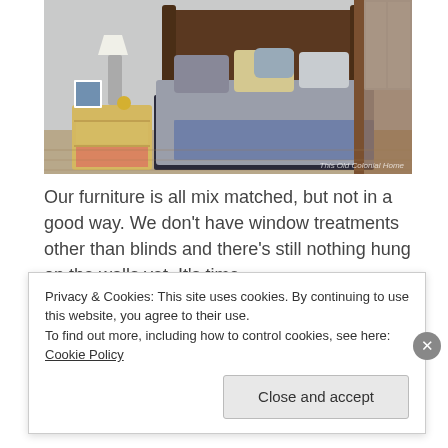[Figure (photo): A bedroom with a four-poster bed with blue/grey bedding and decorative pillows, a yellow wooden nightstand with a lamp and photo frame, hardwood floors. Watermark reads 'This Old Colonial Home'.]
Our furniture is all mix matched, but not in a good way. We don't have window treatments other than blinds and there's still nothing hung on the walls yet. It's time.
So far we have managed to get two new dressers
Privacy & Cookies: This site uses cookies. By continuing to use this website, you agree to their use.
To find out more, including how to control cookies, see here: Cookie Policy
Close and accept